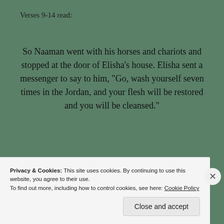Verses 9-14 read:
So Naaman went with his horses and chariots and stopped at the door of Elisha’s house. Elisha sent a messenger to say to him, “Go, wash yourself seven times in the Jordan, and your flesh will be restored and you will be cleansed.”
[Figure (screenshot): Advertisement banner: 'reads on the go.' with GET THE APP and W logo on dark background, followed by REPORT THIS AD text]
Privacy & Cookies: This site uses cookies. By continuing to use this website, you agree to their use.
To find out more, including how to control cookies, see here: Cookie Policy
Close and accept